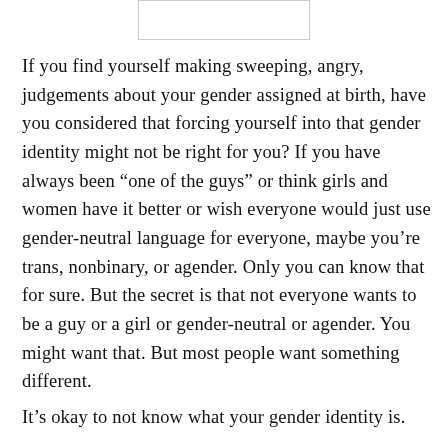[Figure (other): A blank rectangular box at the top center of the page, likely a placeholder image or header graphic.]
If you find yourself making sweeping, angry, judgements about your gender assigned at birth, have you considered that forcing yourself into that gender identity might not be right for you? If you have always been “one of the guys” or think girls and women have it better or wish everyone would just use gender-neutral language for everyone, maybe you’re trans, nonbinary, or agender. Only you can know that for sure. But the secret is that not everyone wants to be a guy or a girl or gender-neutral or agender. You might want that. But most people want something different.
It’s okay to not know what your gender identity is.